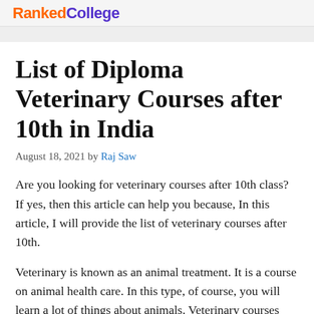Ranked College
List of Diploma Veterinary Courses after 10th in India
August 18, 2021 by Raj Saw
Are you looking for veterinary courses after 10th class? If yes, then this article can help you because, In this article, I will provide the list of veterinary courses after 10th.
Veterinary is known as an animal treatment. It is a course on animal health care. In this type, of course, you will learn a lot of things about animals. Veterinary courses deal with the study